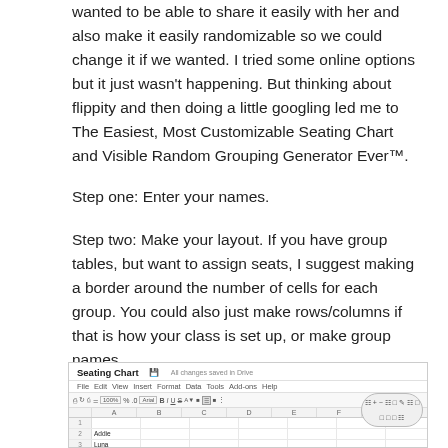wanted to be able to share it easily with her and also make it easily randomizable so we could change it if we wanted. I tried some online options but it just wasn't happening. But thinking about flippity and then doing a little googling led me to The Easiest, Most Customizable Seating Chart and Visible Random Grouping Generator Ever™.
Step one: Enter your names.
Step two: Make your layout. If you have group tables, but want to assign seats, I suggest making a border around the number of cells for each group. You could also just make rows/columns if that is how your class is set up, or make group names.
[Figure (screenshot): Screenshot of a Google Sheets spreadsheet titled 'Seating Chart' showing a grid with student names (Addie, Luna, Mr. Craig, Meg, Niku) in column A, and bordered cell groups in the grid representing seating layout. A border/formatting popup toolbar is visible in the upper right of the spreadsheet.]